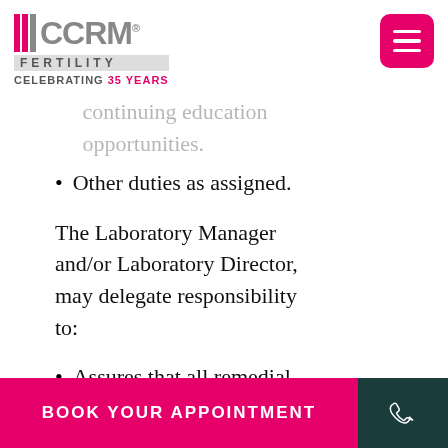CCRM FERTILITY — CELEBRATING 35 YEARS
continuing education opportunities.
Other duties as assigned.
The Laboratory Manager and/or Laboratory Director, may delegate responsibility to:
Assures that all remedial actions are taken when...
BOOK YOUR APPOINTMENT